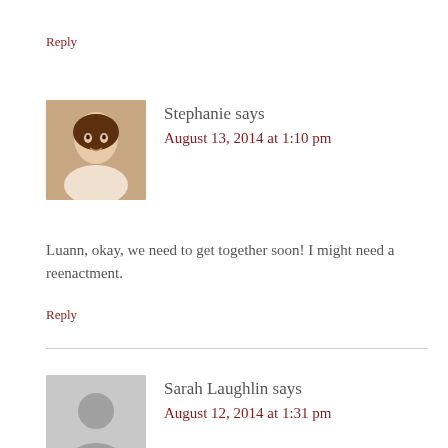Reply
Stephanie says
August 13, 2014 at 1:10 pm
Luann, okay, we need to get together soon! I might need a reenactment.
Reply
Sarah Laughlin says
August 12, 2014 at 1:31 pm